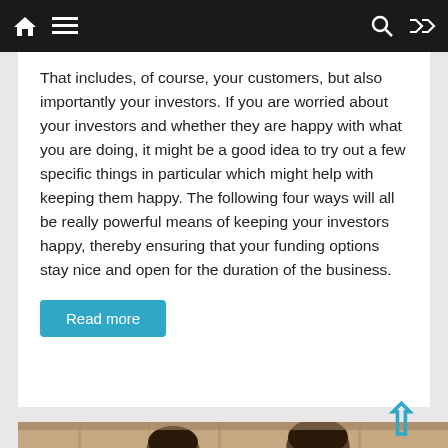Navigation bar with home, menu, search, and shuffle icons
That includes, of course, your customers, but also importantly your investors. If you are worried about your investors and whether they are happy with what you are doing, it might be a good idea to try out a few specific things in particular which might help with keeping them happy. The following four ways will all be really powerful means of keeping your investors happy, thereby ensuring that your funding options stay nice and open for the duration of the business.
Read more
[Figure (photo): Two people seen from behind, one wearing yellow, sitting in what appears to be a gymnasium or sports hall with wooden walls]